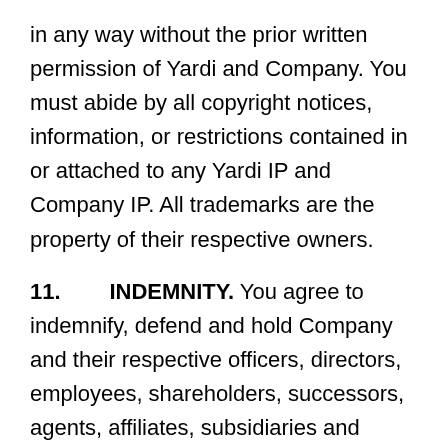in any way without the prior written permission of Yardi and Company. You must abide by all copyright notices, information, or restrictions contained in or attached to any Yardi IP and Company IP. All trademarks are the property of their respective owners.
11. INDEMNITY. You agree to indemnify, defend and hold Company and their respective officers, directors, employees, shareholders, successors, agents, affiliates, subsidiaries and relevant third parties including advertisers, distribution partners, referral partners, service providers, licensors, licensees, consultants and contractors (collectively the “Indemnified Parties”) harmless from and against any claims, liabilities, losses, costs, damages or expenses including reasonable attorneys’ fees and costs, directly or indirectly, arising out of or in any way relating to: (a) your